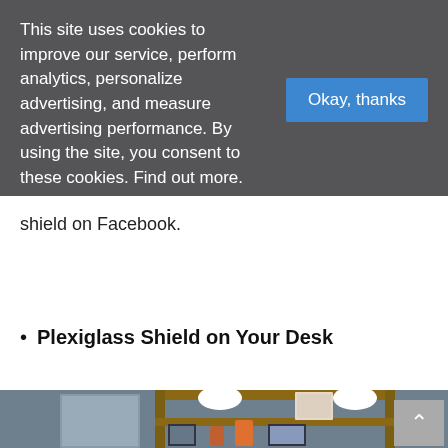This site uses cookies to improve our service, perform analytics, personalize advertising, and measure advertising performance. By using the site, you consent to these cookies. Find out more.
shield on Facebook.
Plexiglass Shield on Your Desk
[Figure (photo): Photo of a wooden desk shelf with hardhat, photo frames, decorative items, and a framed photo leaning against a blue wall]